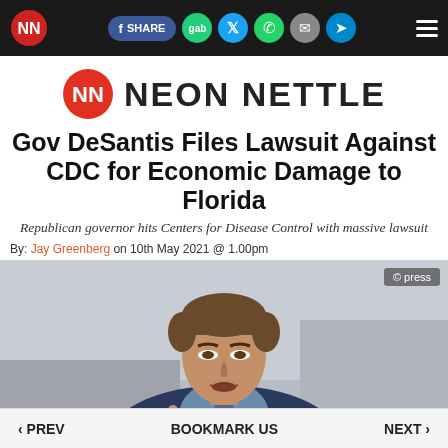Neon Nettle navigation bar with share buttons
[Figure (logo): Neon Nettle logo: stylized NN in red circle with text NEON NETTLE]
Gov DeSantis Files Lawsuit Against CDC for Economic Damage to Florida
Republican governor hits Centers for Disease Control with massive lawsuit
By: Jay Greenberg on 10th May 2021 @ 1.00pm
[Figure (photo): Photo of Governor Ron DeSantis speaking and gesturing with his hand, wearing a dark suit]
‹ PREV    BOOKMARK US    NEXT ›